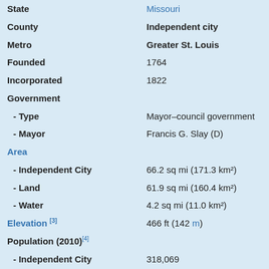| Field | Value |
| --- | --- |
| State | Missouri |
| County | Independent city |
| Metro | Greater St. Louis |
| Founded | 1764 |
| Incorporated | 1822 |
| Government |  |
|  - Type | Mayor–council government |
|  - Mayor | Francis G. Slay (D) |
| Area |  |
|  - Independent City | 66.2 sq mi (171.3 km²) |
|  - Land | 61.9 sq mi (160.4 km²) |
|  - Water | 4.2 sq mi (11.0 km²) |
| Elevation [3] | 466 ft (142 m) |
| Population (2010)[4] |  |
|  - Independent City | 318,069 |
|  - Density | 4,823/sq mi (1,864/km²) |
|  - Metro | 3,001,233 (18th) |
| Time zone | CST (UTC−6) |